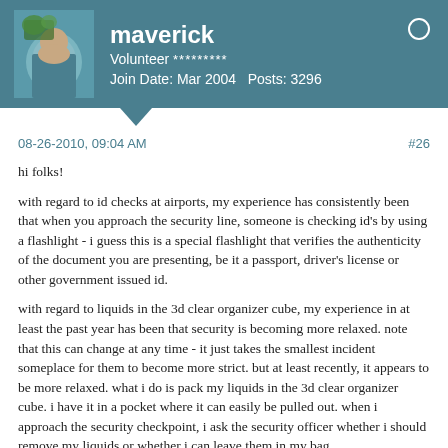maverick
Volunteer *********
Join Date: Mar 2004   Posts: 3296
08-26-2010, 09:04 AM
#26
hi folks!
with regard to id checks at airports, my experience has consistently been that when you approach the security line, someone is checking id's by using a flashlight - i guess this is a special flashlight that verifies the authenticity of the document you are presenting, be it a passport, driver's license or other government issued id.
with regard to liquids in the 3d clear organizer cube, my experience in at least the past year has been that security is becoming more relaxed. note that this can change at any time - it just takes the smallest incident someplace for them to become more strict. but at least recently, it appears to be more relaxed. what i do is pack my liquids in the 3d clear organizer cube. i have it in a pocket where it can easily be pulled out. when i approach the security checkpoint, i ask the security officer whether i should remove my liquids or whether i can leave them in my bag.